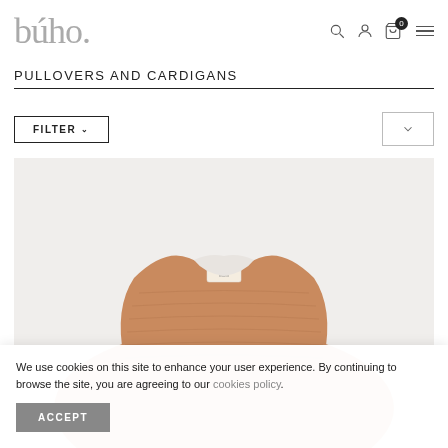[Figure (logo): búho brand logo in grey serif font]
PULLOVERS AND CARDIGANS
[Figure (screenshot): FILTER button with chevron and sort dropdown button]
[Figure (photo): A caramel/rust colored knit cardigan laid flat on a light grey background, with a small búho label tag visible at neck]
We use cookies on this site to enhance your user experience. By continuing to browse the site, you are agreeing to our cookies policy.
ACCEPT